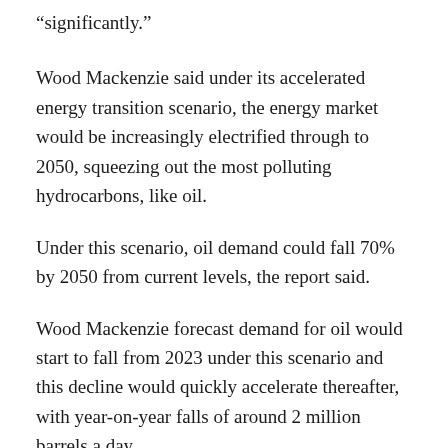“significantly.”
Wood Mackenzie said under its accelerated energy transition scenario, the energy market would be increasingly electrified through to 2050, squeezing out the most polluting hydrocarbons, like oil.
Under this scenario, oil demand could fall 70% by 2050 from current levels, the report said.
Wood Mackenzie forecast demand for oil would start to fall from 2023 under this scenario and this decline would quickly accelerate thereafter, with year-on-year falls of around 2 million barrels a day.
The report said oil prices could go into “terminal decline,” with international benchmark Brent crude falling to